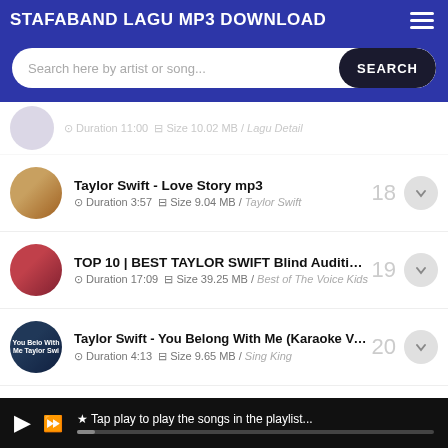STAFABAND LAGU MP3 DOWNLOAD
Search here by artist or song...
Duration 11:00  Size 10.02 MB / Lagu Detail (faded/partially visible)
18. Taylor Swift - Love Story mp3 | Duration 3:57  Size 9.04 MB / Taylor Swift
19. TOP 10 | BEST TAYLOR SWIFT Blind Auditions in The ... | Duration 17:09  Size 39.25 MB / Best of The Voice Kids
20. Taylor Swift - You Belong With Me (Karaoke Version) mp3 | Duration 4:13  Size 9.65 MB / Sing King
21. Taylor Swift - We Are Never Ever Getting Back Together... | Duration 3:36  Size 8.24 MB / Taylor Swift
Taylor Swift Trouble | Duración 3:23  Tamaño 4.97 MB / Download Here
★ Tap play to play the songs in the playlist...